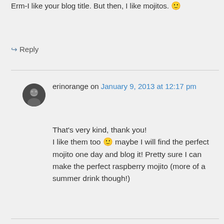Erm-I like your blog title. But then, I like mojitos. 🙂
↪ Reply
erinorange on January 9, 2013 at 12:17 pm
That's very kind, thank you! I like them too 🙂 maybe I will find the perfect mojito one day and blog it! Pretty sure I can make the perfect raspberry mojito (more of a summer drink though!)